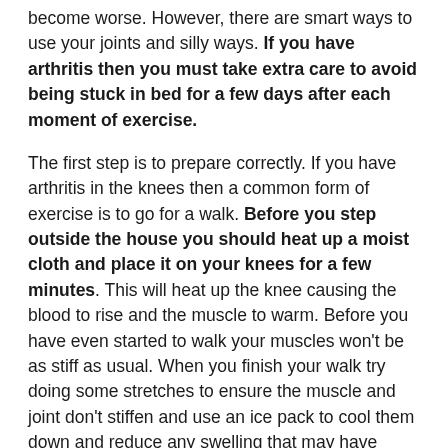become worse. However, there are smart ways to use your joints and silly ways. If you have arthritis then you must take extra care to avoid being stuck in bed for a few days after each moment of exercise.
The first step is to prepare correctly. If you have arthritis in the knees then a common form of exercise is to go for a walk. Before you step outside the house you should heat up a moist cloth and place it on your knees for a few minutes. This will heat up the knee causing the blood to rise and the muscle to warm. Before you have even started to walk your muscles won't be as stiff as usual. When you finish your walk try doing some stretches to ensure the muscle and joint don't stiffen and use an ice pack to cool them down and reduce any swelling that may have occurred.
If walking is too difficult then talk to your doctor and you may be recommended better exercises. As a general rule